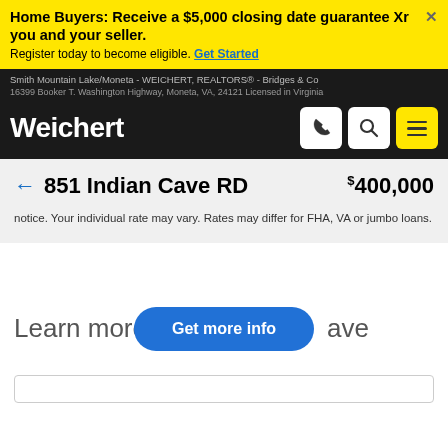Home Buyers: Receive a $5,000 closing date guarantee Xr you and your seller. Register today to become eligible. Get Started
Smith Mountain Lake/Moneta - WEICHERT, REALTORS® - Bridges & Co. | 16399 Booker T. Washington Highway, Moneta, VA, 24121 Licensed in Virginia
Weichert
← 851 Indian Cave RD   $400,000
notice. Your individual rate may vary. Rates may differ for FHA, VA or jumbo loans.
Learn more ave
Get more info